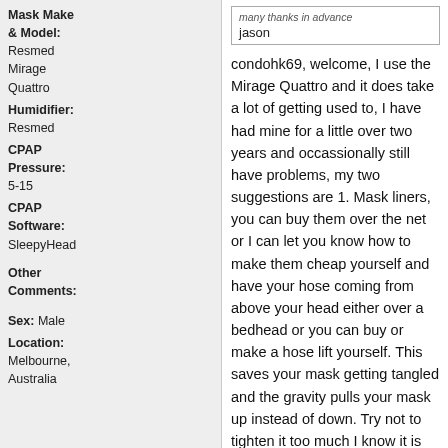Mask Make & Model: Resmed Mirage Quattro
Humidifier: Resmed
CPAP Pressure: 5-15
CPAP Software: SleepyHead
Other Comments:
Sex: Male
Location: Melbourne, Australia
many thanks in advance
jason
condohk69, welcome, I use the Mirage Quattro and it does take a lot of getting used to, I have had mine for a little over two years and occassionally still have problems, my two suggestions are 1. Mask liners, you can buy them over the net or I can let you know how to make them cheap yourself and have your hose coming from above your head either over a bedhead or you can buy or make a hose lift yourself. This saves your mask getting tangled and the gravity pulls your mask up instead of down. Try not to tighten it too much I know it is tempting but it needs to almost float on your face.
Find
REPLY
Reply with Quote
08-06-2013, 12:29 AM
#6